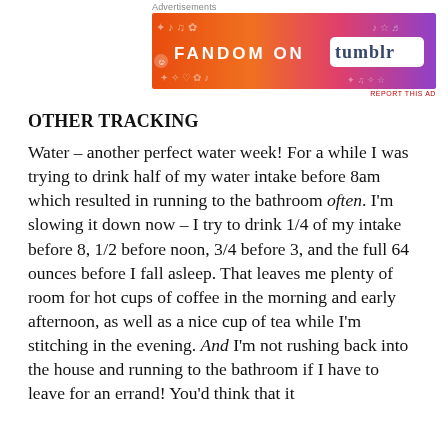[Figure (other): Advertisement banner for 'Fandom on Tumblr' with colorful orange-to-purple gradient background and doodle artwork]
OTHER TRACKING
Water – another perfect water week! For a while I was trying to drink half of my water intake before 8am which resulted in running to the bathroom often. I'm slowing it down now – I try to drink 1/4 of my intake before 8, 1/2 before noon, 3/4 before 3, and the full 64 ounces before I fall asleep. That leaves me plenty of room for hot cups of coffee in the morning and early afternoon, as well as a nice cup of tea while I'm stitching in the evening. And I'm not rushing back into the house and running to the bathroom if I have to leave for an errand! You'd think that it would be obvious, but ance for